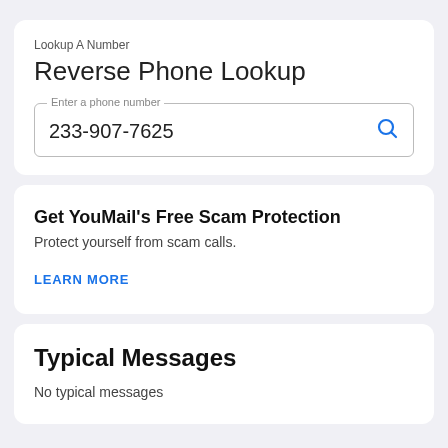Lookup A Number
Reverse Phone Lookup
233-907-7625
Get YouMail's Free Scam Protection
Protect yourself from scam calls.
LEARN MORE
Typical Messages
No typical messages